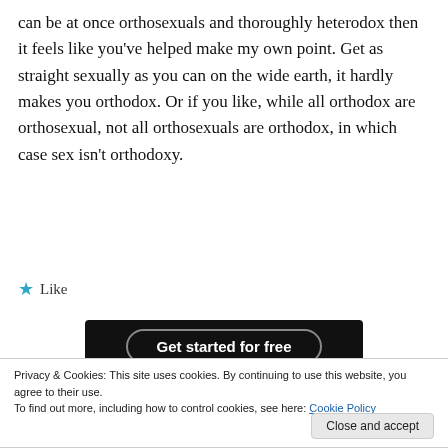can be at once orthosexuals and thoroughly heterodox then it feels like you've helped make my own point. Get as straight sexually as you can on the wide earth, it hardly makes you orthodox. Or if you like, while all orthodox are orthosexual, not all orthosexuals are orthodox, in which case sex isn't orthodoxy.
★ Like
[Figure (screenshot): Black banner with 'Get started for free' button]
Privacy & Cookies: This site uses cookies. By continuing to use this website, you agree to their use.
To find out more, including how to control cookies, see here: Cookie Policy
Close and accept